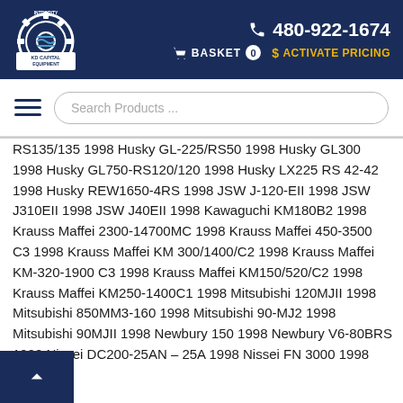KD Capital Equipment LLC | 480-922-1674 | BASKET 0 | ACTIVATE PRICING
RS135/135 1998 Husky GL-225/RS50 1998 Husky GL300 1998 Husky GL750-RS120/120 1998 Husky LX225 RS 42-42 1998 Husky REW1650-4RS 1998 JSW J-120-EII 1998 JSW J310EII 1998 JSW J40EII 1998 Kawaguchi KM180B2 1998 Krauss Maffei 2300-14700MC 1998 Krauss Maffei 450-3500 C3 1998 Krauss Maffei KM 300/1400/C2 1998 Krauss Maffei KM-320-1900 C3 1998 Krauss Maffei KM150/520/C2 1998 Krauss Maffei KM250-1400C1 1998 Mitsubishi 120MJII 1998 Mitsubishi 850MM3-160 1998 Mitsubishi 90-MJ2 1998 Mitsubishi 90MJII 1998 Newbury 150 1998 Newbury V6-80BRS 1998 Nissei DC200-25AN – 25A 1998 Nissei FN 3000 1998 Nissei FN-4000-36A 1998 Nissei FN-6000 1998 Nissei FN-7000-360 1998 Nissei FN-0-12A 1998 Nissei FN2000 1998 Nissei FN3000 1998